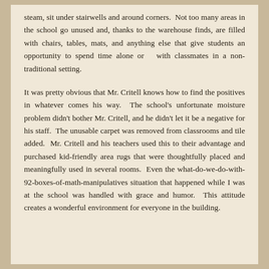steam, sit under stairwells and around corners. Not too many areas in the school go unused and, thanks to the warehouse finds, are filled with chairs, tables, mats, and anything else that give students an opportunity to spend time alone or with classmates in a non-traditional setting.
It was pretty obvious that Mr. Critell knows how to find the positives in whatever comes his way. The school's unfortunate moisture problem didn't bother Mr. Critell, and he didn't let it be a negative for his staff. The unusable carpet was removed from classrooms and tile added. Mr. Critell and his teachers used this to their advantage and purchased kid-friendly area rugs that were thoughtfully placed and meaningfully used in several rooms. Even the what-do-we-do-with-92-boxes-of-math-manipulatives situation that happened while I was at the school was handled with grace and humor. This attitude creates a wonderful environment for everyone in the building.